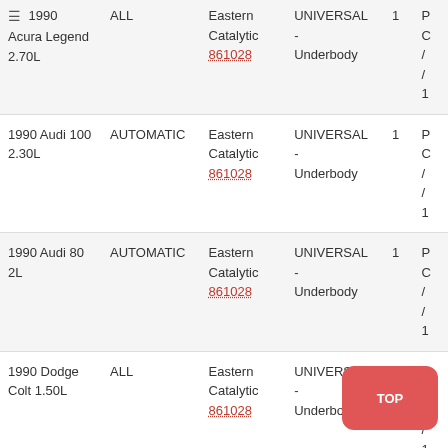| Vehicle | Transmission | Brand | Type/Part# | Position | Qty | Part |
| --- | --- | --- | --- | --- | --- | --- |
| ≡ 1990 Acura Legend 2.70L | ALL | Eastern Catalytic 861028 | UNIVERSAL - Underbody | 1 | P / C / / 1 |
| 1990 Audi 100 2.30L | AUTOMATIC | Eastern Catalytic 861028 | UNIVERSAL - Underbody | 1 | P / C / / 1 |
| 1990 Audi 80 2L | AUTOMATIC | Eastern Catalytic 861028 | UNIVERSAL - Underbody | 1 | P / C / / 1 |
| 1990 Dodge Colt 1.50L | ALL | Eastern Catalytic 861028 | UNIVERSAL - Underbody | 1 | P / C / / 1 |